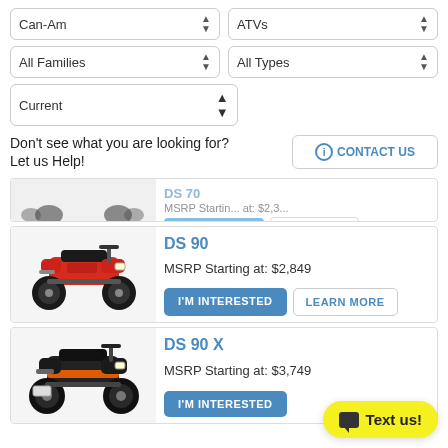[Figure (screenshot): Dropdown filter: Can-Am brand selector]
[Figure (screenshot): Dropdown filter: ATVs category selector]
[Figure (screenshot): Dropdown filter: All Families selector]
[Figure (screenshot): Dropdown filter: All Types selector]
[Figure (screenshot): Dropdown filter: Current year selector]
Don't see what you are looking for? Let us Help!
CONTACT US
I'M INTERESTED
LEARN MORE
DS 90
MSRP Starting at: $2,849
I'M INTERESTED
LEARN MORE
DS 90 X
MSRP Starting at: $3,749
I'M INTERESTED
Text us!